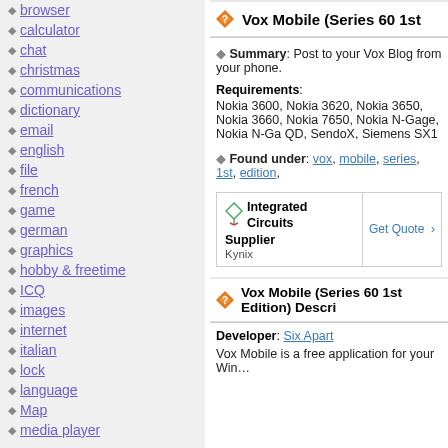browser
calculator
chat
christmas
communications
dictionary
email
english
file
french
game
german
graphics
hobby & freetime
ICQ
images
internet
italian
lock
language
Map
media player
Vox Mobile (Series 60 1st...
Summary: Post to your Vox Blog from your phone.
Requirements:
Nokia 3600, Nokia 3620, Nokia 3650, Nokia 3660, Nokia 7650, Nokia N-Gage, Nokia N-Gage QD, SendoX, Siemens SX1
Found under: vox, mobile, series, 1st, edition,
[Figure (other): Advertisement for Integrated Circuits Supplier Kynix with Get Quote button]
Vox Mobile (Series 60 1st Edition) Descri...
Developer: Six Apart
Vox Mobile is a free application for your Win...